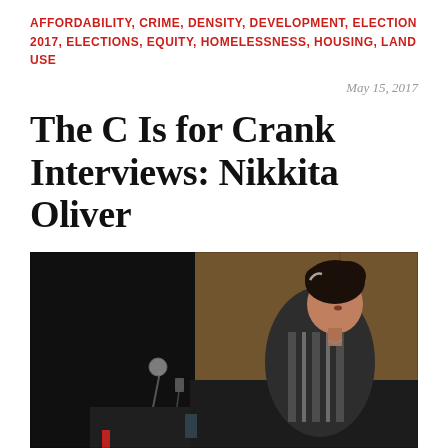AFFORDABILITY, CRIME, DENSITY, DEVELOPMENT, ELECTION 2017, ELECTIONS, EQUITY, HOMELESSNESS, HOUSING, LAND USE
May 15, 2017
The C Is for Crank Interviews: Nikkita Oliver
[Figure (photo): A woman with dark curly hair pulled up, wearing a black and grey striped vest, speaking or presenting at an event. A microphone stand is visible in the lower left foreground against a dark background with a wood-paneled wall behind.]